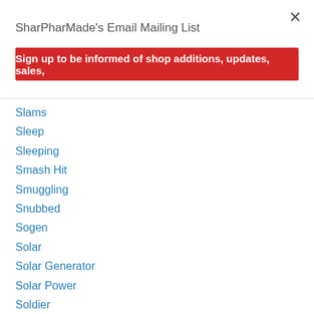×
SharPharMade's Email Mailing List
Sign up to be informed of shop additions, updates, sales,
Slams
Sleep
Sleeping
Smash Hit
Smuggling
Snubbed
Sogen
Solar
Solar Generator
Solar Power
Soldier
Sparks
Speak
Spending
SPm